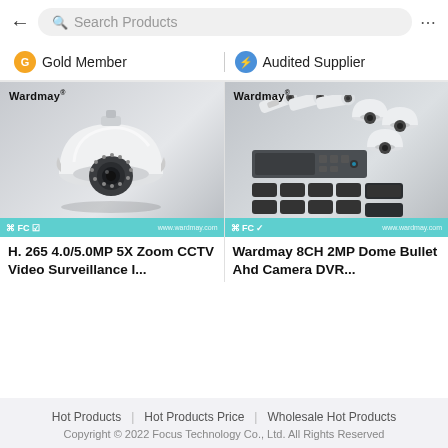Search Products
Gold Member   Audited Supplier
[Figure (photo): Wardmay dome security camera with IR LEDs]
H. 265 4.0/5.0MP 5X Zoom CCTV Video Surveillance I...
[Figure (photo): Wardmay 8CH 2MP Dome Bullet AHD Camera DVR kit with multiple cameras and accessories]
Wardmay 8CH 2MP Dome Bullet Ahd Camera DVR...
Hot Products | Hot Products Price | Wholesale Hot Products
Copyright © 2022 Focus Technology Co., Ltd. All Rights Reserved